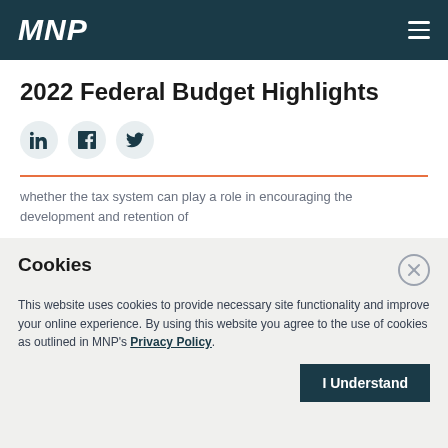MNP
2022 Federal Budget Highlights
[Figure (other): Social share icons: LinkedIn, Facebook, Twitter]
whether the tax system can play a role in encouraging the development and retention of
Cookies
This website uses cookies to provide necessary site functionality and improve your online experience. By using this website you agree to the use of cookies as outlined in MNP's Privacy Policy.
I Understand